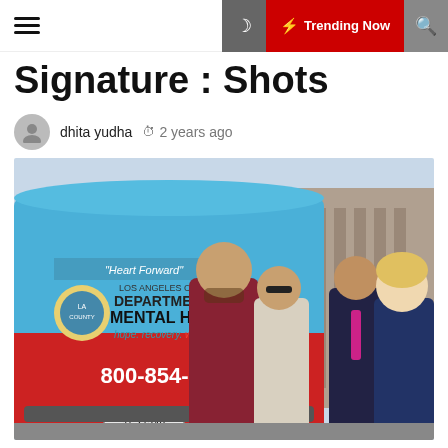Trending Now
Signature : Shots
dhita yudha   2 years ago
[Figure (photo): People standing near a Los Angeles County Department of Mental Health van/bus. The van is blue and red, branded with 'Heart Forward', the LA County Department of Mental Health logo, 'hope. recovery. wellbeing.' and the phone number 800-854-7771. License plate reads 1537248. Several people are gathered around the back of the van in an outdoor setting near a building with columns.]